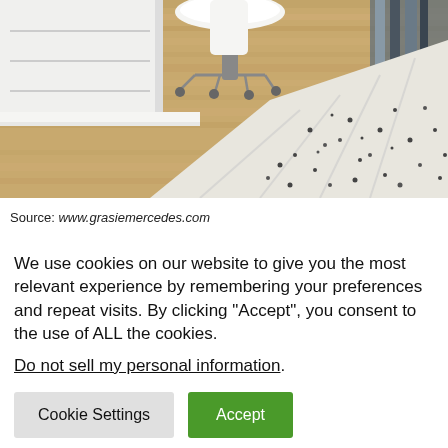[Figure (photo): Interior photo of a home office/closet area showing a white rolling desk chair, white cabinetry/drawers, hardwood flooring, and a cream and black patterned area rug. Shoes and clothing are visible in the background.]
Source: www.grasiemercedes.com
We use cookies on our website to give you the most relevant experience by remembering your preferences and repeat visits. By clicking “Accept”, you consent to the use of ALL the cookies.
Do not sell my personal information.